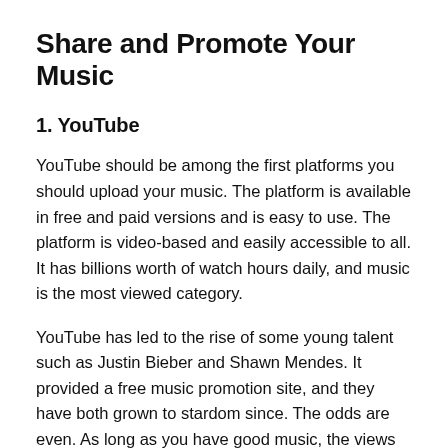Share and Promote Your Music
1. YouTube
YouTube should be among the first platforms you should upload your music. The platform is available in free and paid versions and is easy to use. The platform is video-based and easily accessible to all. It has billions worth of watch hours daily, and music is the most viewed category.
YouTube has led to the rise of some young talent such as Justin Bieber and Shawn Mendes. It provided a free music promotion site, and they have both grown to stardom since. The odds are even. As long as you have good music, the views